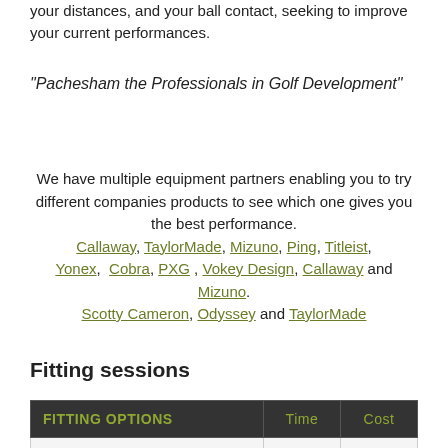your distances, and your ball contact, seeking to improve your current performances.
"Pachesham the Professionals in Golf Development"
We have multiple equipment partners enabling you to try different companies products to see which one gives you the best performance. Callaway, TaylorMade, Mizuno, Ping, Titleist, Yonex, Cobra, PXG, Vokey Design, Callaway and Mizuno. Scotty Cameron, Odyssey and TaylorMade
Fitting sessions
| FITTING OPTIONS | Time | Cost |
| --- | --- | --- |